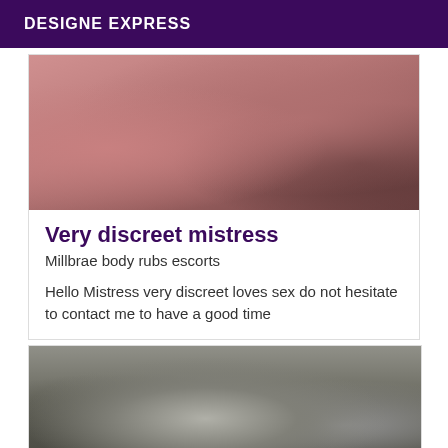DESIGNE EXPRESS
[Figure (photo): Close-up photo with warm reddish-brown tones, appears to be fabric or skin texture]
Very discreet mistress
Millbrae body rubs escorts
Hello Mistress very discreet loves sex do not hesitate to contact me to have a good time
[Figure (photo): Close-up photo showing dark hair and what appears to be a hair styling tool or object, in muted gray-brown tones]